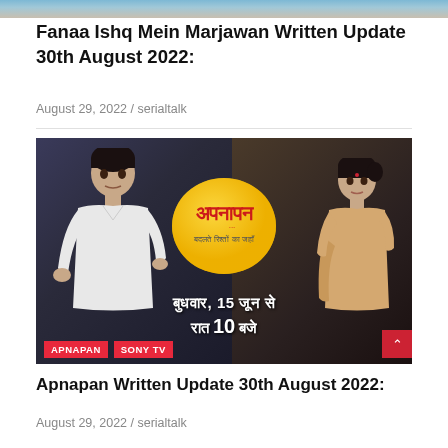[Figure (photo): Partial top strip of a TV show image at the very top of the page]
Fanaa Ishq Mein Marjawan Written Update 30th August 2022:
August 29, 2022 / serialtalk
[Figure (photo): A promotional still/promo image for the Indian TV serial 'Apnapan' on Sony TV featuring a man in white shirt on the left and a woman in beige saree on the right, with a yellow sun-shaped logo in the center showing Hindi text 'Apnapan', and lower text in Hindi reading 'Budhwar, 15 June se Raat 10 Baje'. Red tags 'APNAPAN' and 'SONY TV' at bottom left.]
Apnapan Written Update 30th August 2022:
August 29, 2022 / serialtalk